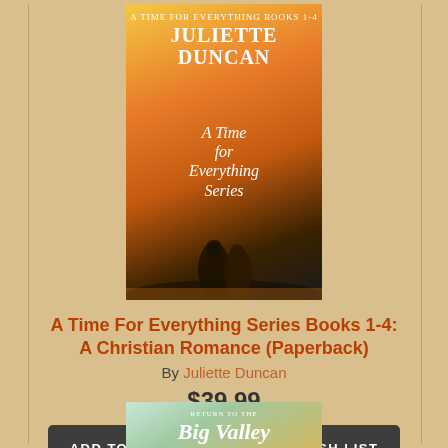[Figure (photo): Book cover for 'A Time for Everything Series' by Juliette Duncan, showing two silhouetted figures by water at sunset with warm orange/golden tones.]
A Time For Everything Series Books 1-4: A Christian Romance (Paperback)
By Juliette Duncan
$39.99
ADD TO CART
ADD TO WISH LIST
Backordered
(This book cannot be returned.)
[Figure (photo): Book cover for 'Return to the Big Valley' by Wanda, showing an Amish woman from behind in a field with golden/green tones.]